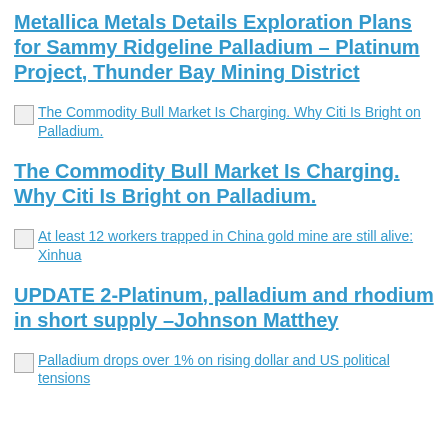Metallica Metals Details Exploration Plans for Sammy Ridgeline Palladium – Platinum Project, Thunder Bay Mining District
[Figure (other): Broken image thumbnail link: The Commodity Bull Market Is Charging. Why Citi Is Bright on Palladium.]
The Commodity Bull Market Is Charging. Why Citi Is Bright on Palladium.
[Figure (other): Broken image thumbnail link: At least 12 workers trapped in China gold mine are still alive: Xinhua]
UPDATE 2-Platinum, palladium and rhodium in short supply –Johnson Matthey
[Figure (other): Broken image thumbnail link: Palladium drops over 1% on rising dollar and US political tensions]